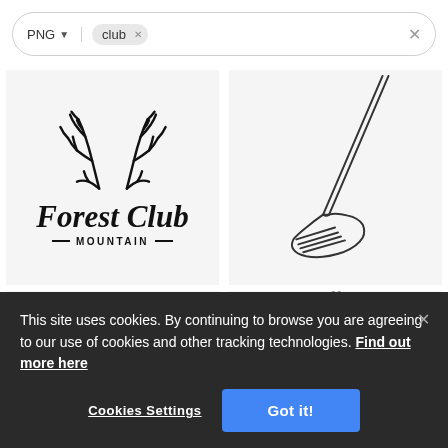[Figure (screenshot): Search bar with PNG filter dropdown and 'club' search chip with X button, and a close X button on the right]
[Figure (logo): Forest Club Mountain logo with antler illustration and stylized text]
[Figure (illustration): Golf club iron illustration, line drawing on light gray background]
[Figure (illustration): Partial view of a house/building logo, bottom portion cut off]
[Figure (illustration): Partial view of a golf club head, bottom right cell]
This site uses cookies. By continuing to browse you are agreeing to our use of cookies and other tracking technologies.  Find out more here
Cookies Settings
Got it!